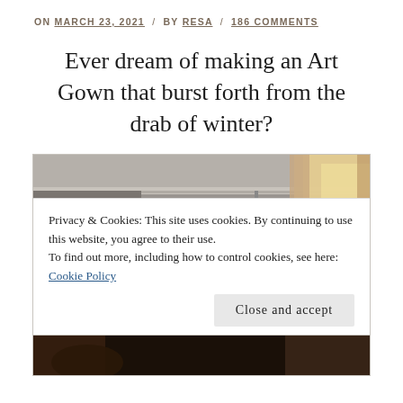ON MARCH 23, 2021 / BY RESA / 186 COMMENTS
Ever dream of making an Art Gown that burst forth from the drab of winter?
[Figure (photo): Interior room photo showing a dress form/mannequin near a window with curtains, framed art on wall, and molding details. Dark ambient lighting.]
Privacy & Cookies: This site uses cookies. By continuing to use this website, you agree to their use.
To find out more, including how to control cookies, see here: Cookie Policy
Close and accept